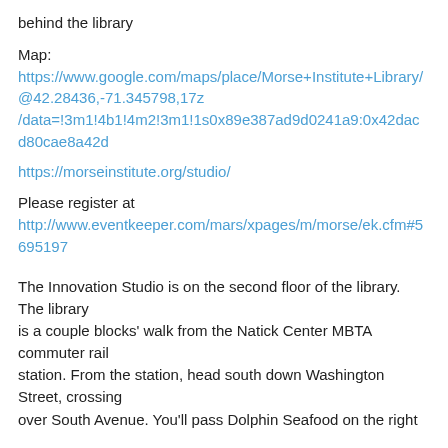behind the library
Map:
https://www.google.com/maps/place/Morse+Institute+Library/@42.28436,-71.345798,17z/data=!3m1!4b1!4m2!3m1!1s0x89e387ad9d0241a9:0x42dacd80cae8a42d
https://morseinstitute.org/studio/
Please register at
http://www.eventkeeper.com/mars/xpages/m/morse/ek.cfm#5695197
The Innovation Studio is on the second floor of the library. The library is a couple blocks' walk from the Natick Center MBTA commuter rail station. From the station, head south down Washington Street, crossing over South Avenue. You'll pass Dolphin Seafood on the right